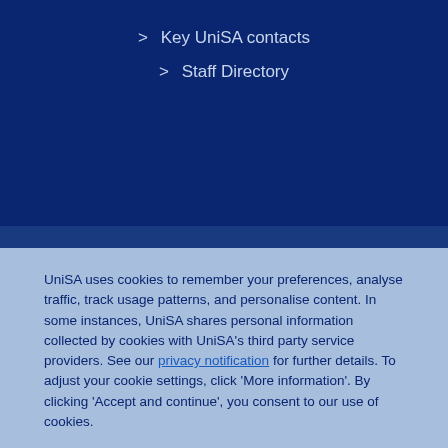> Key UniSA contacts
> Staff Directory
UniSA uses cookies to remember your preferences, analyse traffic, track usage patterns, and personalise content. In some instances, UniSA shares personal information collected by cookies with UniSA's third party service providers. See our privacy notification for further details. To adjust your cookie settings, click 'More information'. By clicking 'Accept and continue', you consent to our use of cookies.
Accept and continue
More information